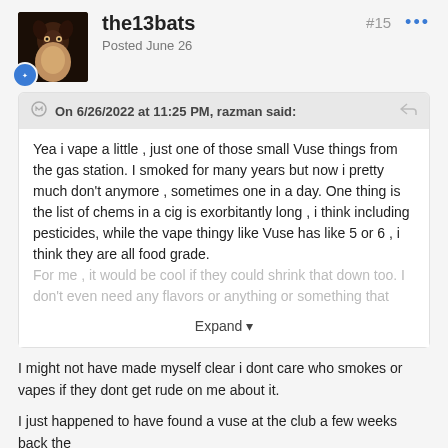the13bats | Posted June 26 | #15
On 6/26/2022 at 11:25 PM, razman said:
Yea i vape a little , just one of those small Vuse things from the gas station. I smoked for many years but now i pretty much don't anymore , sometimes one in a day. One thing is the list of chems in a cig is exorbitantly long , i think including pesticides, while the vape thingy like Vuse has like 5 or 6 , i think they are all food grade. For me , it would be cool if they could shrink that down too. I don't even need any flavors or anything or something that
Expand
I might not have made myself clear i dont care who smokes or vapes if they dont get rude on me about it.
I just happened to have found a vuse at the club a few weeks back the